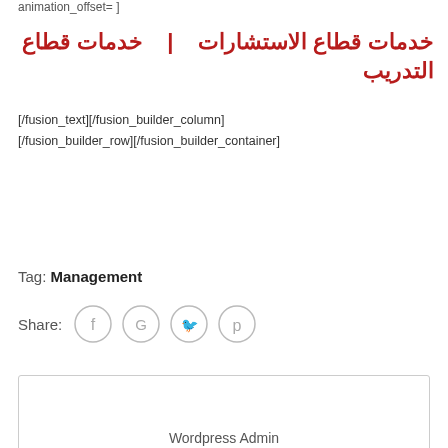animation_offset= ]
خدمات قطاع الاستشارات   |   خدمات قطاع التدريب
[/fusion_text][/fusion_builder_column]
[/fusion_builder_row][/fusion_builder_container]
Tag: Management
Share:
Wordpress Admin